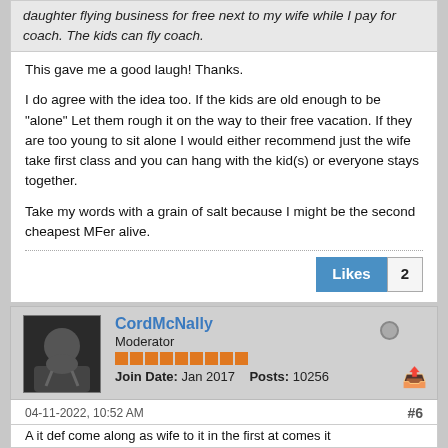daughter flying business for free next to my wife while I pay for coach. The kids can fly coach.
This gave me a good laugh! Thanks.

I do agree with the idea too. If the kids are old enough to be "alone" Let them rough it on the way to their free vacation. If they are too young to sit alone I would either recommend just the wife take first class and you can hang with the kid(s) or everyone stays together.

Take my words with a grain of salt because I might be the second cheapest MFer alive.
Likes 2
CordMcNally
Moderator
Join Date: Jan 2017   Posts: 10256
04-11-2022, 10:52 AM
#6